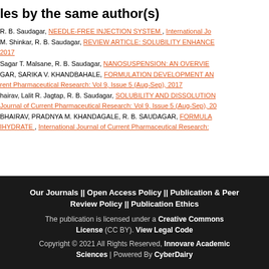les by the same author(s)
R. B. Saudagar, NEEDLE-FREE INJECTION SYSTEM , International Jo...
M. Shinkar, R. B. Saudagar, REVIEW ARTICLE: SOLUBILITY ENHANCE... 2017
Sagar T. Malsane, R. B. Saudagar, NANOSUSPENSION: AN OVERVIE...
GAR, SARIKA V. KHANDBAHALE, FORMULATION DEVELOPMENT AN... rent Pharmaceutical Research: Vol 9, Issue 5 (Aug-Sep), 2017
hairav, Lalit R. Jagtap, R. B. Saudagar, SOLUBILITY AND DISSOLUTION... Journal of Current Pharmaceutical Research: Vol 9, Issue 5 (Aug-Sep), 20...
BHAIRAV, PRADNYA M. KHANDAGALE, R. B. SAUDAGAR, FORMULA... IHYDRATE , International Journal of Current Pharmaceutical Research: ...
Our Journals || Open Access Policy || Publication & Peer Review Policy || Publication Ethics
The publication is licensed under a Creative Commons License (CC BY). View Legal Code
Copyright © 2021 All Rights Reserved, Innovare Academic Sciences | Powered By CyberDairy